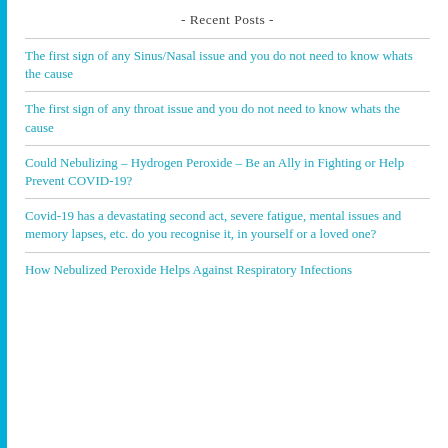- Recent Posts -
The first sign of any Sinus/Nasal issue and you do not need to know whats the cause
The first sign of any throat issue and you do not need to know whats the cause
Could Nebulizing – Hydrogen Peroxide – Be an Ally in Fighting or Help Prevent COVID-19?
Covid-19 has a devastating second act, severe fatigue, mental issues and memory lapses, etc. do you recognise it, in yourself or a loved one?
How Nebulized Peroxide Helps Against Respiratory Infections